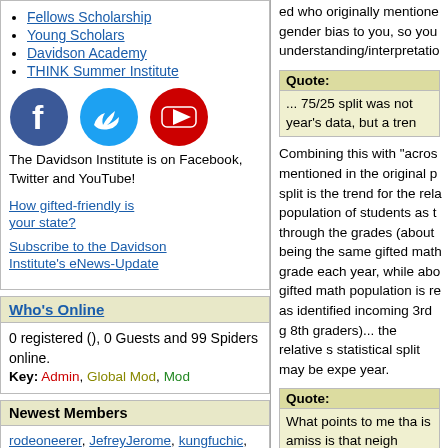Fellows Scholarship
Young Scholars
Davidson Academy
THINK Summer Institute
[Figure (illustration): Social media icons: Facebook (blue circle with f), Twitter (blue bird), YouTube (red play button circle)]
The Davidson Institute is on Facebook, Twitter and YouTube!
How gifted-friendly is your state?
Subscribe to the Davidson Institute's eNews-Update
Who's Online
0 registered (), 0 Guests and 99 Spiders online.
Key: Admin, Global Mod, Mod
Newest Members
rodeoneerer, JefreyJerome, kungfuchic, Larry Divis, Mvdnest
11200 Registered Users
ed who originally mentioned gender bias to you, so your understanding/interpretation
Quote:
... 75/25 split was not year's data, but a tren
Combining this with "acros mentioned in the original p split is the trend for the rel population of students as t through the grades (about being the same gifted math grade each year, while ab gifted math population is r as identified incoming 3rd g 8th graders)... the relative statistical split may be expe year.
Quote:
What points to me th is amiss is that neigh districts that have a s population of people would expect a simila students) have more